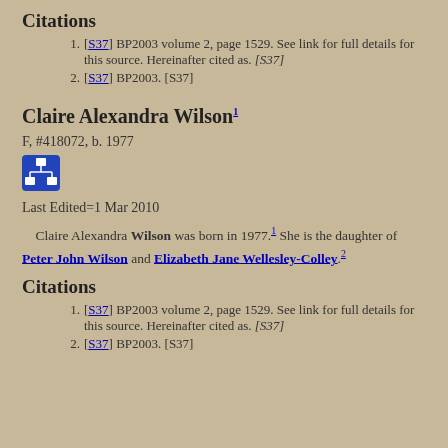Citations
[S37] BP2003 volume 2, page 1529. See link for full details for this source. Hereinafter cited as. [S37]
[S37] BP2003. [S37]
Claire Alexandra Wilson 1
F, #418072, b. 1977
[Figure (other): Blue icon button with family tree / organizational chart symbol]
Last Edited=1 Mar 2010
Claire Alexandra Wilson was born in 1977.1 She is the daughter of Peter John Wilson and Elizabeth Jane Wellesley-Colley.2
Citations
[S37] BP2003 volume 2, page 1529. See link for full details for this source. Hereinafter cited as. [S37]
[S37] BP2003. [S37]